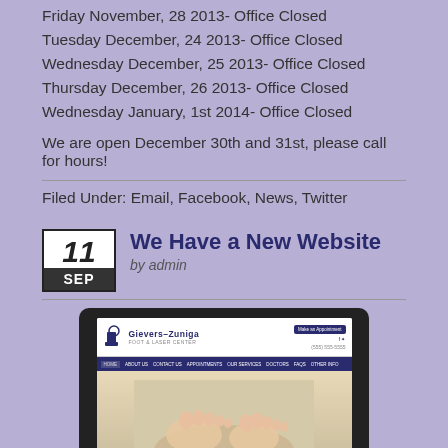Friday November, 28 2013- Office Closed
Tuesday December, 24 2013- Office Closed
Wednesday December, 25 2013- Office Closed
Thursday December, 26 2013- Office Closed
Wednesday January, 1st 2014- Office Closed
We are open December 30th and 31st, please call for hours!
Filed Under: Email, Facebook, News, Twitter
We Have a New Website
by admin
[Figure (screenshot): Screenshot of Gievers-Zuniga Foot & Laser Center website displayed on a laptop, showing the homepage with a hero image of feet on sand.]